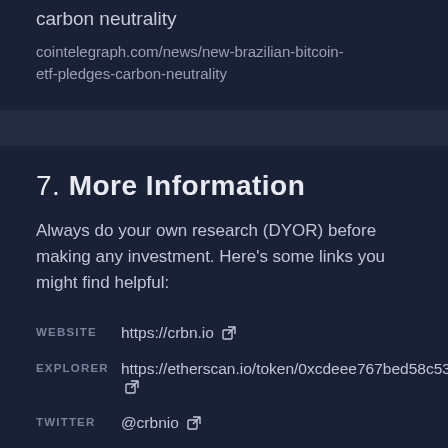carbon neutrality
cointelegraph.com/news/new-brazilian-bitcoin-etf-pledges-carbon-neutrality
7. More Information
Always do your own research (DYOR) before making any investment. Here's some links you might find helpful:
|  |  |
| --- | --- |
| WEBSITE | https://crbn.io ↗ |
| EXPLORER | https://etherscan.io/token/0xcdeee767bed58c5325f68... ↗ |
| TWITTER | @crbnio ↗ |
| REDDIT | /r/crbn ↗ |